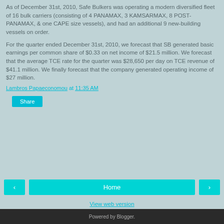As of December 31st, 2010, Safe Bulkers was operating a modern diversified fleet of 16 bulk carriers (consisting of 4 PANAMAX, 3 KAMSARMAX, 8 POST-PANAMAX, & one CAPE size vessels), and had an additional 9 new-building vessels on order.
For the quarter ended December 31st, 2010, we forecast that SB generated basic earnings per common share of $0.33 on net income of $21.5 million. We forecast that the average TCE rate for the quarter was $28,650 per day on TCE revenue of $41.1 million. We finally forecast that the company generated operating income of $27 million.
Lambros Papaeconomou at 11:35 AM
Share
◄
Home
►
View web version
Powered by Blogger.